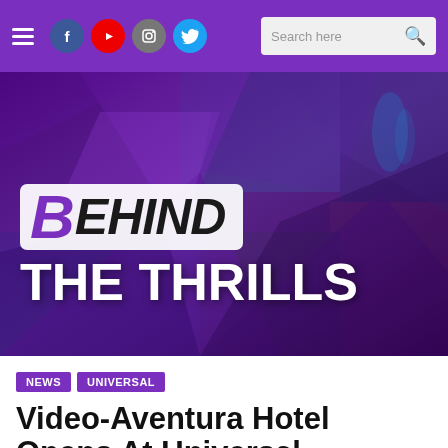[Figure (screenshot): Website navigation bar with hamburger menu, social media icons (Facebook, YouTube, Instagram, Twitter), and a search bar on purple background]
[Figure (logo): Behind The Thrills website banner/logo over a collage of theme park images with purple overlay]
NEWS   UNIVERSAL
Video-Aventura Hotel Opens At Universal Orlando Resort